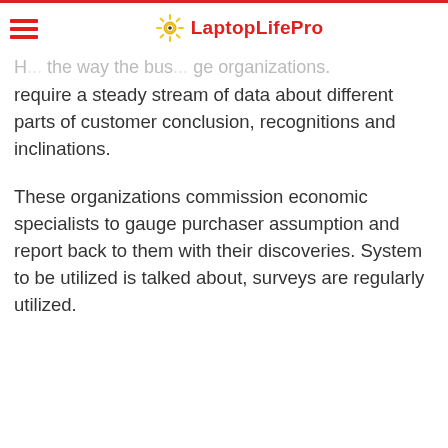LaptopLifePro
H... the way the bus... ge organizations require a steady stream of data about different parts of customer conclusion, recognitions and inclinations.
These organizations commission economic specialists to gauge purchaser assumption and report back to them with their discoveries. System to be utilized is talked about, surveys are regularly utilized.